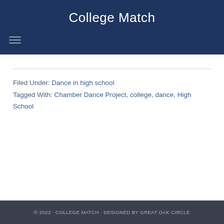College Match
Filed Under: Dance in high school
Tagged With: Chamber Dance Project, college, dance, High School
© 2022 · COLLEGE MATCH · DESIGNED BY GREAT OAK CIRCLE